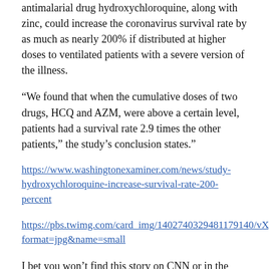antimalarial drug hydroxychloroquine, along with zinc, could increase the coronavirus survival rate by as much as nearly 200% if distributed at higher doses to ventilated patients with a severe version of the illness.
“We found that when the cumulative doses of two drugs, HCQ and AZM, were above a certain level, patients had a survival rate 2.9 times the other patients,” the study’s conclusion states.”
https://www.washingtonexaminer.com/news/study-hydroxychloroquine-increase-survival-rate-200-percent
https://pbs.twimg.com/card_img/1402740329481179140/vXgt6dti?format=jpg&name=small
I bet you won’t find this story on CNN or in the New York Times.
Marmon
Reply